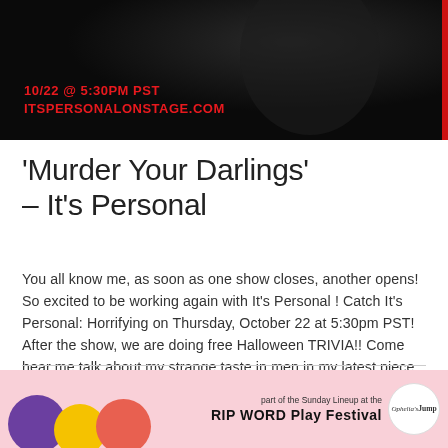[Figure (photo): Dark promotional image with red text showing '10/22 @ 5:30PM PST' and 'ITSPERSONALONSTAGE.COM' on a black background with a red vertical bar on the right.]
'Murder Your Darlings' – It's Personal
You all know me, as soon as one show closes, another opens! So excited to be working again with It's Personal ! Catch It's Personal: Horrifying on Thursday, October 22 at 5:30pm PST! After the show, we are doing free Halloween TRIVIA!! Come hear me talk about my strange taste in men in my latest piece, "Murder Your Darlings."
[Figure (infographic): Bottom banner with pink background, colorful circles (purple, yellow, orange/red), text 'part of the Sunday Lineup at the RIP WORD Play Festival' and Ophelia's Jump logo badge.]